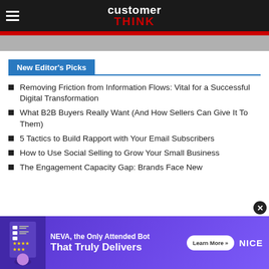customer THINK
New Editor's Picks
Removing Friction from Information Flows: Vital for a Successful Digital Transformation
What B2B Buyers Really Want (And How Sellers Can Give It To Them)
5 Tactics to Build Rapport with Your Email Subscribers
How to Use Social Selling to Grow Your Small Business
The Engagement Capacity Gap: Brands Face New
[Figure (infographic): Advertisement banner for NEVA, the Only Attended Bot That Truly Delivers, by NICE, with Learn More button]